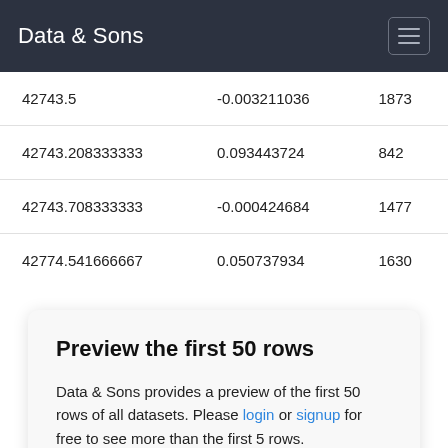Data & Sons
| 42743.5 | -0.003211036 | 1873 |
| 42743.208333333 | 0.093443724 | 842 |
| 42743.708333333 | -0.000424684 | 1477 |
| 42774.541666667 | 0.050737934 | 1630 |
Preview the first 50 rows
Data & Sons provides a preview of the first 50 rows of all datasets. Please login or signup for free to see more than the first 5 rows.
LOGIN